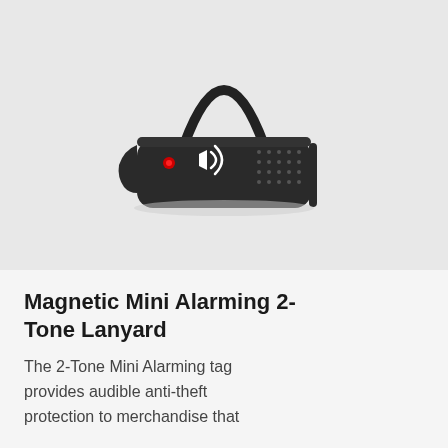[Figure (photo): Black magnetic mini alarming 2-tone lanyard security tag with a cable loop handle on top, a red LED indicator light on the left side, a speaker icon/logo in the center, and a speaker grille on the right side. The device is photographed on a light gray background.]
Magnetic Mini Alarming 2-Tone Lanyard
The 2-Tone Mini Alarming tag provides audible anti-theft protection to merchandise that